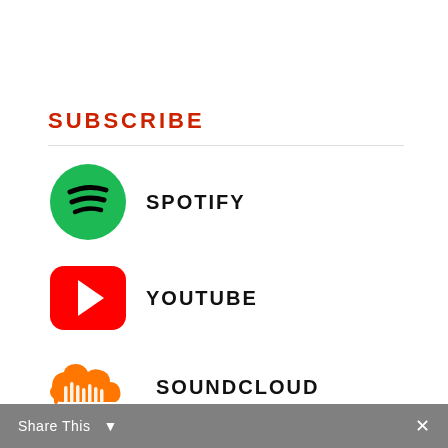SUBSCRIBE
[Figure (logo): Spotify logo: green circle with three black curved sound wave lines]
SPOTIFY
[Figure (logo): YouTube logo: red rounded rectangle with white play triangle]
YOUTUBE
[Figure (logo): SoundCloud logo: orange cloud with vertical bars]
SOUNDCLOUD
Share This  ✕